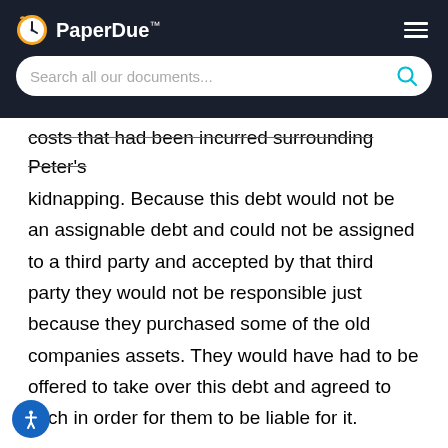PaperDue™
costs that had been incurred surrounding Peter's kidnapping. Because this debt would not be an assignable debt and could not be assigned to a third party and accepted by that third party they would not be responsible just because they purchased some of the old companies assets. They would have had to be offered to take over this debt and agreed to such in order for them to be liable for it.